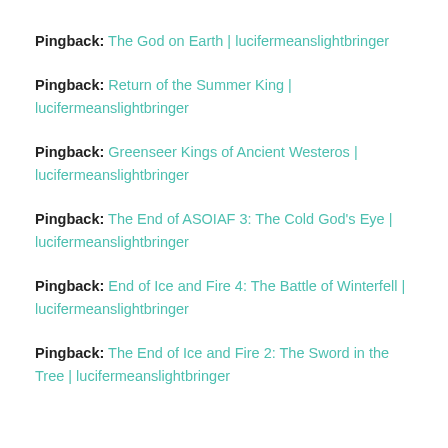Pingback: The God on Earth | lucifermeanslightbringer
Pingback: Return of the Summer King | lucifermeanslightbringer
Pingback: Greenseer Kings of Ancient Westeros | lucifermeanslightbringer
Pingback: The End of ASOIAF 3: The Cold God's Eye | lucifermeanslightbringer
Pingback: End of Ice and Fire 4: The Battle of Winterfell | lucifermeanslightbringer
Pingback: The End of Ice and Fire 2: The Sword in the Tree | lucifermeanslightbringer